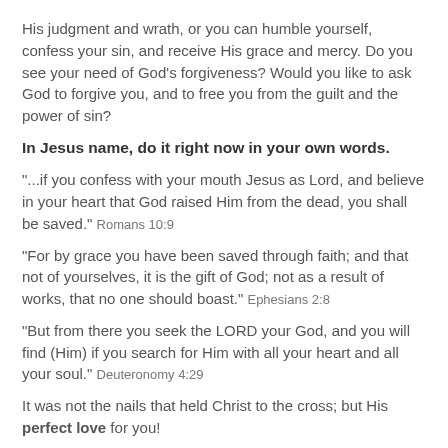His judgment and wrath, or you can humble yourself, confess your sin, and receive His grace and mercy. Do you see your need of God's forgiveness? Would you like to ask God to forgive you, and to free you from the guilt and the power of sin?
In Jesus name, do it right now in your own words.
"...if you confess with your mouth Jesus as Lord, and believe in your heart that God raised Him from the dead, you shall be saved." Romans 10:9
"For by grace you have been saved through faith; and that not of yourselves, it is the gift of God; not as a result of works, that no one should boast." Ephesians 2:8
"But from there you seek the LORD your God, and you will find (Him) if you search for Him with all your heart and all your soul." Deuteronomy 4:29
It was not the nails that held Christ to the cross; but His perfect love for you!